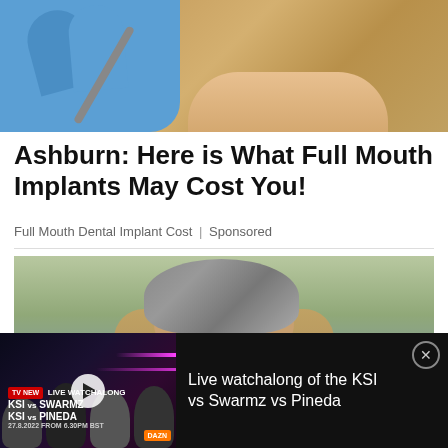[Figure (photo): Medical professional in blue gloves holding a dental/medical tool near a patient with blonde hair]
Ashburn: Here is What Full Mouth Implants May Cost You!
Full Mouth Dental Implant Cost | Sponsored
[Figure (photo): Elderly person with gray hair holding their head with both hands, outdoors background]
[Figure (screenshot): Video ad banner for 'Live watchalong of the KSI vs Swarmz vs Pineda' fight event with thumbnail showing fighters and KSI vs SWARMZ / KSI vs PINEDA branding, 27.8.2022]